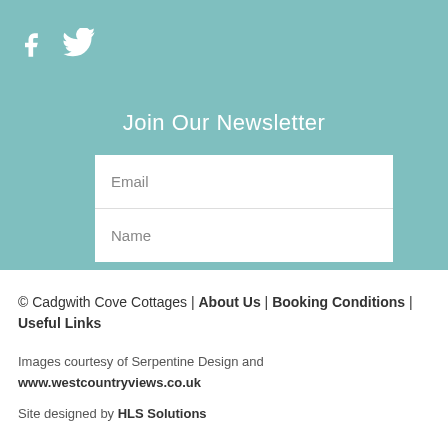[Figure (other): Facebook and Twitter social media icons in white on teal background]
Join Our Newsletter
Email
Name
© Cadgwith Cove Cottages | About Us | Booking Conditions | Useful Links
Images courtesy of Serpentine Design and www.westcountryviews.co.uk
Site designed by HLS Solutions